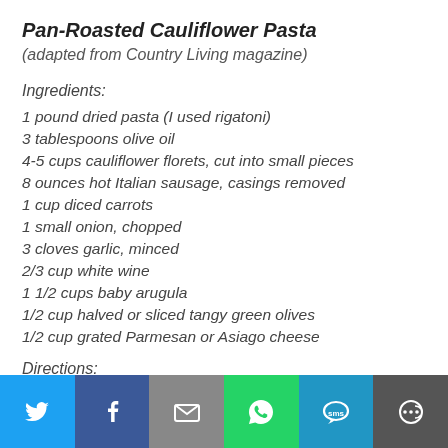Pan-Roasted Cauliflower Pasta
(adapted from Country Living magazine)
Ingredients:
1 pound dried pasta (I used rigatoni)
3 tablespoons olive oil
4-5 cups cauliflower florets, cut into small pieces
8 ounces hot Italian sausage, casings removed
1 cup diced carrots
1 small onion, chopped
3 cloves garlic, minced
2/3 cup white wine
1 1/2 cups baby arugula
1/2 cup halved or sliced tangy green olives
1/2 cup grated Parmesan or Asiago cheese
Directions:
Cook pasta according to package directions.
[Figure (infographic): Social sharing bar with icons for Twitter, Facebook, Email, WhatsApp, SMS, and More]